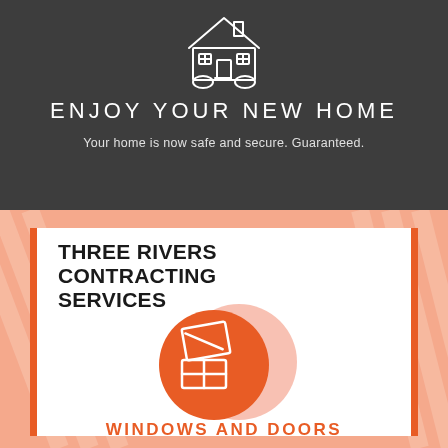[Figure (illustration): Line-art house icon in white on dark gray background]
ENJOY YOUR NEW HOME
Your home is now safe and secure. Guaranteed.
THREE RIVERS CONTRACTING SERVICES
[Figure (illustration): Orange circle with white line-art window/door icon, with a lighter salmon shadow circle behind it]
WINDOWS AND DOORS